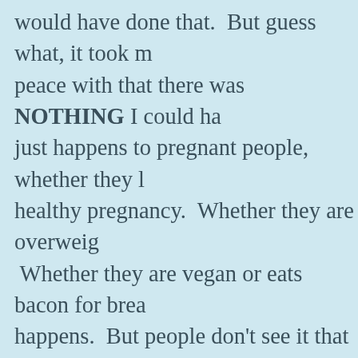would have done that.  But guess what, it took me peace with that there was NOTHING I could ha just happens to pregnant people, whether they l healthy pregnancy.  Whether they are overweig  Whether they are vegan or eats bacon for break happens.  But people don't see it that way.  I kno they are probably saying in their head that may weight before I got pregnant, maybe I should ha pregnancy, maybe I shouldn't have worked so h  Maybe I should have done more holistic things shouldn't have drank the caffeine when my mig literally keep me from getting out of bed durin shouldn't have taken Tylenol for pains/migraine maybe maybe maybe.  That's all I hear.  Even af told me that THERE WAS NOTHING I COUL didn't believe.  Even after reading articles in me